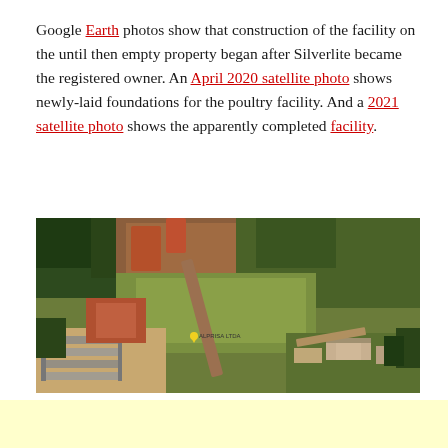Google Earth photos show that construction of the facility on the until then empty property began after Silverlite became the registered owner. An April 2020 satellite photo shows newly-laid foundations for the poultry facility. And a 2021 satellite photo shows the apparently completed facility.
[Figure (photo): Aerial/satellite photo showing a cleared hillside with early construction of a poultry facility (building foundations visible in lower left), surrounded by trees and grass, with existing structures visible in the lower right.]